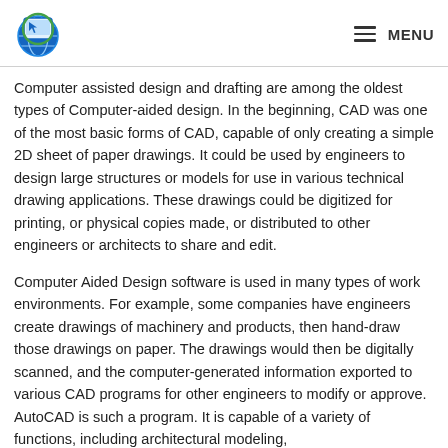MENU
Computer assisted design and drafting are among the oldest types of Computer-aided design. In the beginning, CAD was one of the most basic forms of CAD, capable of only creating a simple 2D sheet of paper drawings. It could be used by engineers to design large structures or models for use in various technical drawing applications. These drawings could be digitized for printing, or physical copies made, or distributed to other engineers or architects to share and edit.
Computer Aided Design software is used in many types of work environments. For example, some companies have engineers create drawings of machinery and products, then hand-draw those drawings on paper. The drawings would then be digitally scanned, and the computer-generated information exported to various CAD programs for other engineers to modify or approve. AutoCAD is such a program. It is capable of a variety of functions, including architectural modeling,